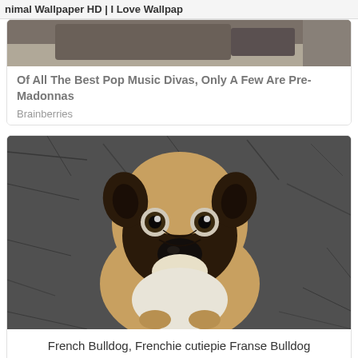nimal Wallpaper HD | I Love Wallpap
[Figure (photo): Partial view of a car interior or similar dark background with an animal]
Of All The Best Pop Music Divas, Only A Few Are Pre-Madonnas
Brainberries
[Figure (photo): A French Bulldog puppy sitting on a dark textured rug, looking directly at the camera with big eyes]
French Bulldog, Frenchie cutiepie Franse Bulldog